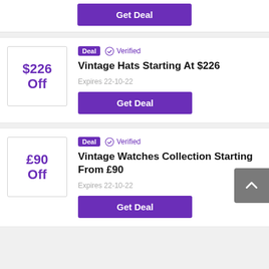Get Deal
Deal   Verified
Vintage Hats Starting At $226
Expires 22-10-22
Get Deal
Deal   Verified
Vintage Watches Collection Starting From £90
Expires 22-10-22
Get Deal